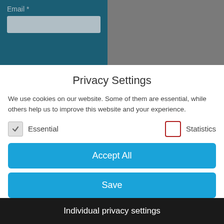[Figure (screenshot): Background showing a form with Email field in a dark teal card on grey background]
Privacy Settings
We use cookies on our website. Some of them are essential, while others help us to improve this website and your experience.
Essential (checked checkbox)
Statistics (unchecked checkbox with red border)
Accept All
Save
Only accept essential cookies
Individual privacy settings